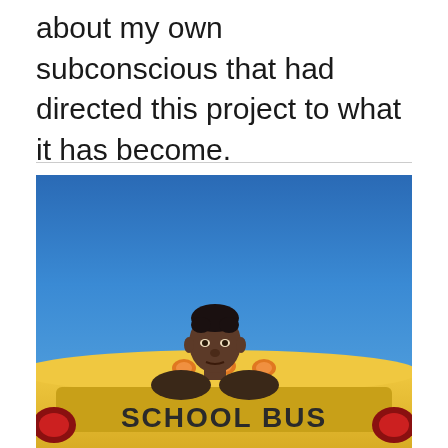about my own subconscious that had directed this project to what it has become.
[Figure (photo): A man's face visible above a yellow school bus, set against a clear blue sky. The front of the bus reads 'SCHOOL BUS' with orange lights visible. The bus is yellow and takes up the lower portion of the image.]